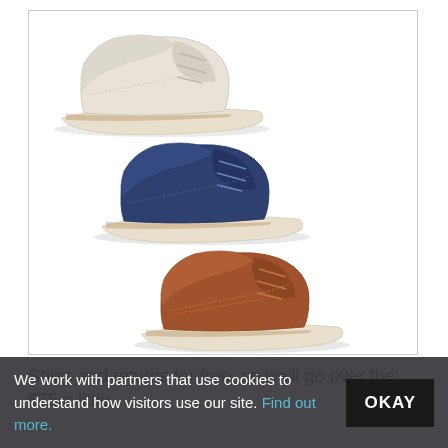[Figure (photo): Three suede derby/oxford shoes in different colors (beige/cream top-left, navy blue middle-center, tan/brown bottom-right) shown on white background inside a bordered box.]
Ships and returns for free, so we'll go over the $75 a little
We work with partners that use cookies to understand how visitors use our site. Find out more.